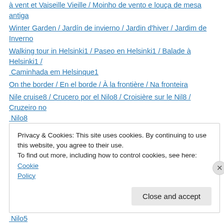à vent et Vaiseille Vieille / Moinho de vento e louça de mesa antiga
Winter Garden / Jardín de invierno / Jardin d'hiver / Jardim de Inverno
Walking tour in Helsinki1 / Paseo en Helsinki1 / Balade à Helsinki1 / Caminhada em Helsinque1
On the border / En el borde / À la frontière / Na fronteira
Nile cruise8 / Crucero por el Nilo8 / Croisière sur le Nil8 / Cruzeiro no Nilo8
Nile cruise7 / Crucero por el Nilo7 / Croisière sur le Nil7 / Cruzeiro no Nilo7
Nile cruise6 / Crucero por el Nilo6 / Croisière sur le Nil6 / Cruzeiro no Nilo6
Nile cruise5 / Crucero por el Nilo5 / Croisière sur le Nil5 / Cruzeiro no Nilo5
Privacy & Cookies: This site uses cookies. By continuing to use this website, you agree to their use. To find out more, including how to control cookies, see here: Cookie Policy